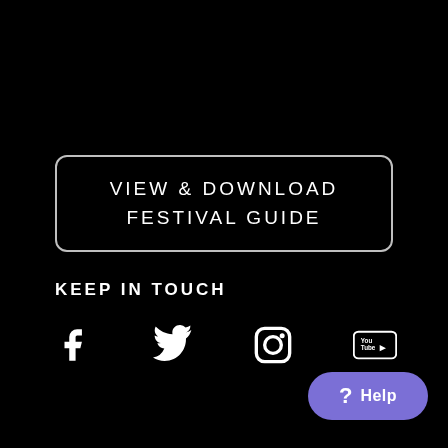VIEW & DOWNLOAD
FESTIVAL GUIDE
KEEP IN TOUCH
[Figure (illustration): Social media icons: Facebook, Twitter, Instagram, YouTube]
? Help